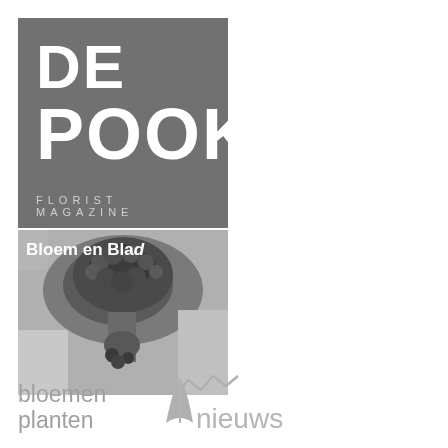[Figure (logo): De Pook Florist Magazine logo: grey square with white bold text DE POOK and light grey FLORIST MAGAZINE text at bottom]
[Figure (photo): Black and white photo of a curly/fluffy flower arrangement with white overlay text reading 'Bloem en Blad']
[Figure (logo): Bloemen Planten Nieuws logo: grey text with a leaf/tulip icon and mountain/wave graphic]